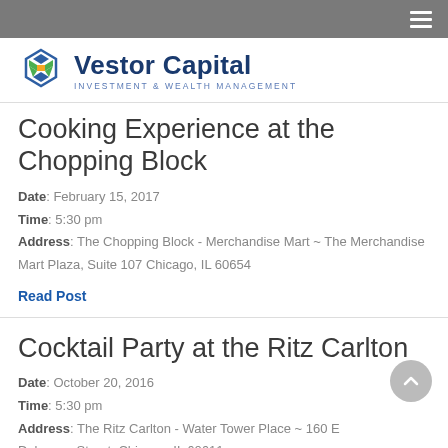Vestor Capital – Investment & Wealth Management
Cooking Experience at the Chopping Block
Date: February 15, 2017
Time: 5:30 pm
Address: The Chopping Block - Merchandise Mart ~ The Merchandise Mart Plaza, Suite 107 Chicago, IL 60654
Read Post
Cocktail Party at the Ritz Carlton
Date: October 20, 2016
Time: 5:30 pm
Address: The Ritz Carlton - Water Tower Place ~ 160 E Delaware Street, Chicago, IL 60611